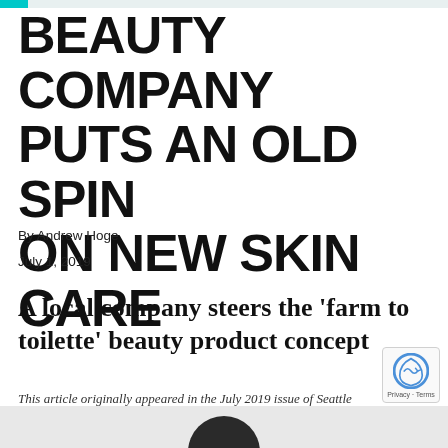BEAUTY COMPANY PUTS AN OLD SPIN ON NEW SKIN CARE
By Andrew Hoge
July 1, 2019
A local company steers the ‘farm to toilette’ beauty product concept
This article originally appeared in the July 2019 issue of Seattle Magazine
[Figure (photo): Bottom portion of a dark-capped cosmetic jar on a light grey background]